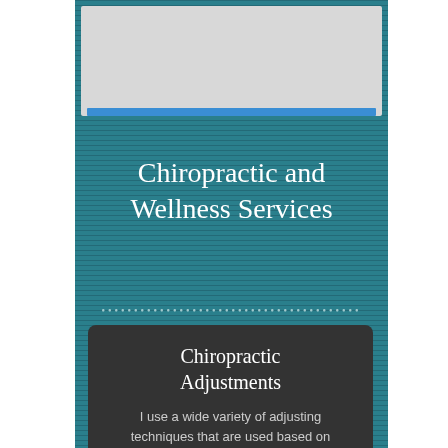[Figure (photo): Placeholder image area at top with light gray background and blue horizontal bar at bottom]
Chiropractic and Wellness Services
Chiropractic Adjustments
I use a wide variety of adjusting techniques that are used based on